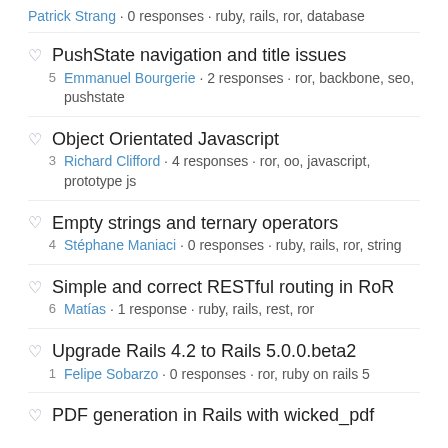Patrick Strang · 0 responses · ruby, rails, ror, database
PushState navigation and title issues
Emmanuel Bourgerie · 2 responses · ror, backbone, seo, pushstate
Votes: 5
Object Orientated Javascript
Richard Clifford · 4 responses · ror, oo, javascript, prototype js
Votes: 3
Empty strings and ternary operators
Stéphane Maniaci · 0 responses · ruby, rails, ror, string
Votes: 4
Simple and correct RESTful routing in RoR
Matías · 1 response · ruby, rails, rest, ror
Votes: 6
Upgrade Rails 4.2 to Rails 5.0.0.beta2
Felipe Sobarzo · 0 responses · ror, ruby on rails 5
Votes: 1
PDF generation in Rails with wicked_pdf